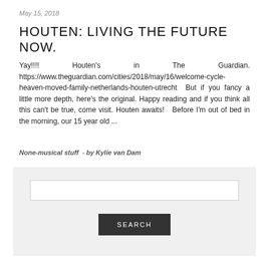May 15, 2018
HOUTEN: LIVING THE FUTURE NOW.
Yay!!!!        Houten's        in        The        Guardian. https://www.theguardian.com/cities/2018/may/16/welcome-cycle-heaven-moved-family-netherlands-houten-utrecht  But if you fancy a little more depth, here's the original. Happy reading and if you think all this can't be true, come visit. Houten awaits!   Before I'm out of bed in the morning, our 15 year old ...
None-musical stuff  -  by Kylie van Dam